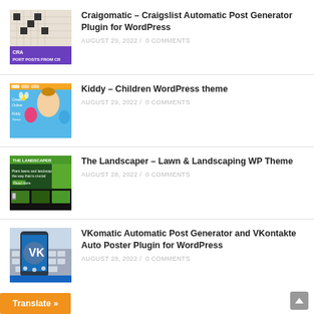[Figure (screenshot): Thumbnail for Craigomatic post — newspaper crossword with purple banner text 'IMPORT POSTS FROM CR']
Craigomatic – Craigslist Automatic Post Generator Plugin for WordPress
AUGUST 29, 2022 /  0 COMMENTS
[Figure (photo): Thumbnail for Kiddy – Children WordPress theme — child with colorful painted hands on blue background]
Kiddy – Children WordPress theme
AUGUST 29, 2022 /  0 COMMENTS
[Figure (screenshot): Thumbnail for The Landscaper – dark green website screenshot showing lawn & landscaping theme]
The Landscaper – Lawn & Landscaping WP Theme
AUGUST 28, 2022 /  0 COMMENTS
[Figure (photo): Thumbnail for VKomatic – smartphone with VKontakte logo on keyboard background]
VKomatic Automatic Post Generator and VKontakte Auto Poster Plugin for WordPress
AUGUST 28, 2022 /  0 COMMENTS